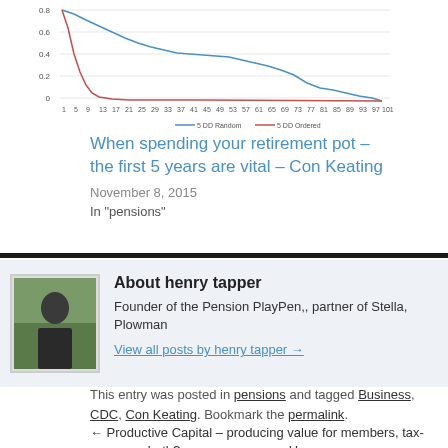[Figure (line-chart): Partial line chart showing two series (5 DD Random and 5 DD Ordered) plotted across x-axis values from 1 to 101, y-axis from 0 to 0.8]
When spending your retirement pot – the first 5 years are vital – Con Keating
November 8, 2015
In "pensions"
[Figure (photo): Photo of henry tapper, author profile image showing a person outdoors]
About henry tapper
Founder of the Pension PlayPen,, partner of Stella, Plowman
View all posts by henry tapper →
This entry was posted in pensions and tagged Business, CDC, Con Keating,. Bookmark the permalink.
← Productive Capital – producing value for members, tax-payers or both?  Has